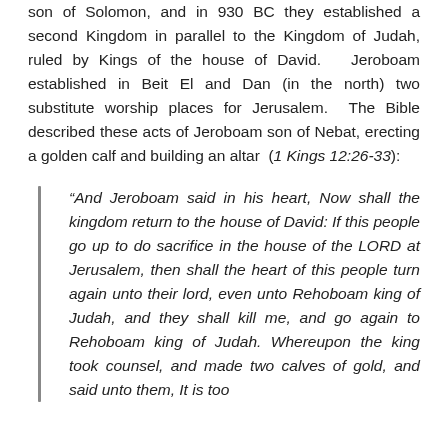son of Solomon, and in 930 BC they established a second Kingdom in parallel to the Kingdom of Judah, ruled by Kings of the house of David. Jeroboam established in Beit El and Dan (in the north) two substitute worship places for Jerusalem. The Bible described these acts of Jeroboam son of Nebat, erecting a golden calf and building an altar (1 Kings 12:26-33):
“And Jeroboam said in his heart, Now shall the kingdom return to the house of David: If this people go up to do sacrifice in the house of the LORD at Jerusalem, then shall the heart of this people turn again unto their lord, even unto Rehoboam king of Judah, and they shall kill me, and go again to Rehoboam king of Judah. Whereupon the king took counsel, and made two calves of gold, and said unto them, It is too